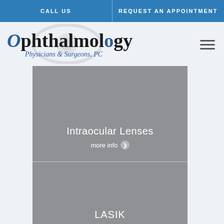CALL US | REQUEST AN APPOINTMENT
[Figure (logo): Ophthalmology Physicians & Surgeons, PC logo with eye graphic]
Intraocular Lenses
more info
LASIK
more info